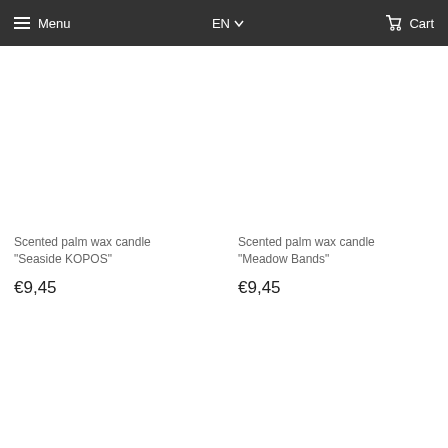Menu  EN  Cart
Scented palm wax candle "Seaside KOPOS"
€9,45
Scented palm wax candle "Meadow Bands"
€9,45